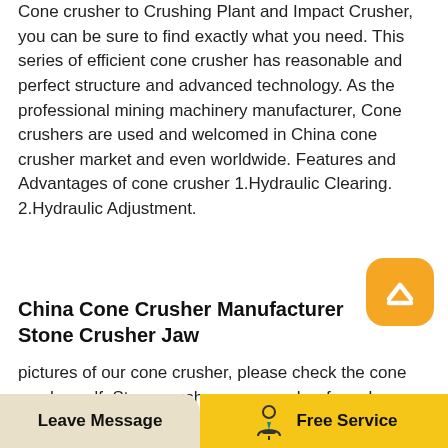Cone crusher to Crushing Plant and Impact Crusher, you can be sure to find exactly what you need. This series of efficient cone crusher has reasonable and perfect structure and advanced technology. As the professional mining machinery manufacturer, Cone crushers are used and welcomed in China cone crusher market and even worldwide. Features and Advantages of cone crusher 1.Hydraulic Clearing. 2.Hydraulic Adjustment.
[Figure (illustration): Orange/yellow rounded square button with a white upward chevron/arrow icon, used as a scroll-to-top button]
China Cone Crusher Manufacturer Stone Crusher Jaw
pictures of our cone crusher, please check the cone crusher pdf. Stone crusher cone crusher for sale . Hysan single cylinder hydraulic cone crusher HH HS series can be used for iron ore, non-ferrous metal ore, manganese ore and gold mine,
Leave Message   Free Service